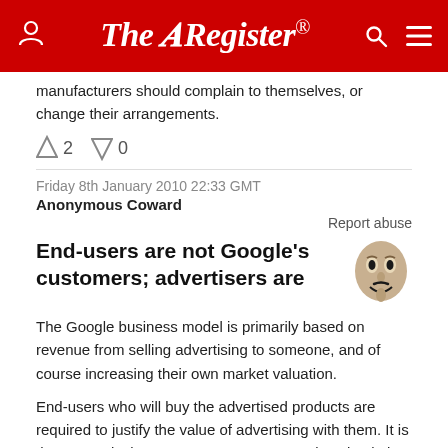The Register
manufacturers should complain to themselves, or change their arrangements.
↑2  ↓0
Friday 8th January 2010 22:33 GMT
Anonymous Coward
Report abuse
End-users are not Google's customers; advertisers are
The Google business model is primarily based on revenue from selling advertising to someone, and of course increasing their own market valuation.
End-users who will buy the advertised products are required to justify the value of advertising with them. It is the net equivalent to newspaper or magazine circulation (qualified).